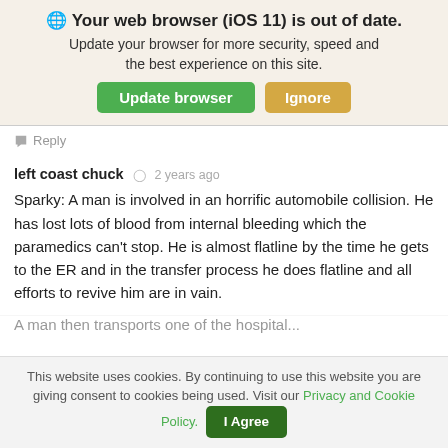🌐 Your web browser (iOS 11) is out of date. Update your browser for more security, speed and the best experience on this site.
Reply
left coast chuck  2 years ago
Sparky: A man is involved in an horrific automobile collision. He has lost lots of blood from internal bleeding which the paramedics can't stop. He is almost flatline by the time he gets to the ER and in the transfer process he does flatline and all efforts to revive him are in vain.
This website uses cookies. By continuing to use this website you are giving consent to cookies being used. Visit our Privacy and Cookie Policy.